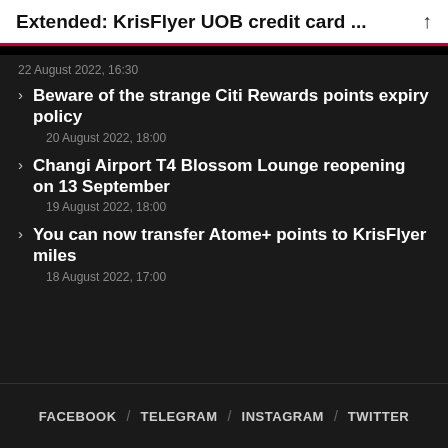Extended: KrisFlyer UOB credit card ...
22 August 2022, 16:30
Beware of the strange Citi Rewards points expiry policy
20 August 2022, 18:00
Changi Airport T4 Blossom Lounge reopening on 13 September
19 August 2022, 18:00
You can now transfer Atome+ points to KrisFlyer miles
18 August 2022, 17:00
FACEBOOK / TELEGRAM / INSTAGRAM / TWITTER